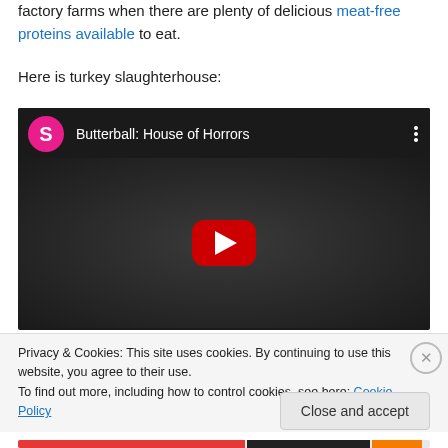factory farms when there are plenty of delicious meat-free proteins available to eat.
Here is turkey slaughterhouse:
[Figure (screenshot): YouTube video embed showing 'Butterball: House of Horrors' with a pink S avatar icon, video title in white text on dark background, and a red YouTube play button in the center over a dark thumbnail.]
Privacy & Cookies: This site uses cookies. By continuing to use this website, you agree to their use.
To find out more, including how to control cookies, see here: Cookie Policy
Close and accept